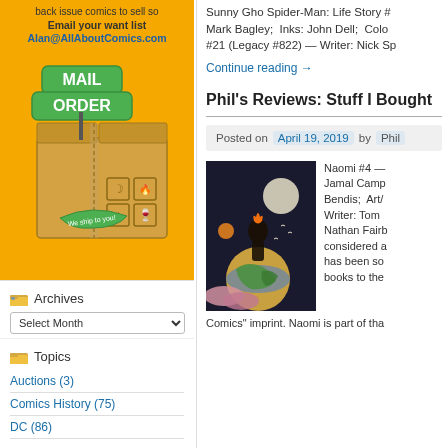[Figure (illustration): Mail Order advertisement box with yellow background showing green street signs reading MAIL ORDER, a cardboard shipping box, and text about shipping comics. Includes tagline 'back issue comics to sell so', 'Email your want list', 'Alan@AllAboutComics.com']
Archives
Select Month dropdown
Topics
Auctions (3)
Comics History (75)
DC (86)
Sunny Gho Spider-Man: Life Story # Mark Bagley; Inks: John Dell; Colo #21 (Legacy #822) — Writer: Nick Sp
Continue reading →
Phil's Reviews: Stuff I Bought
Posted on April 19, 2019 by Phil
[Figure (illustration): Comic book cover art for Naomi #4 showing a stylized character floating above a globe with colorful abstract elements, dark sky with moon]
Naomi #4 — Jamal Camp Bendis; Art/ Writer: Tom Nathan Fairb considered a has been so books to the
Comics" imprint. Naomi is part of tha